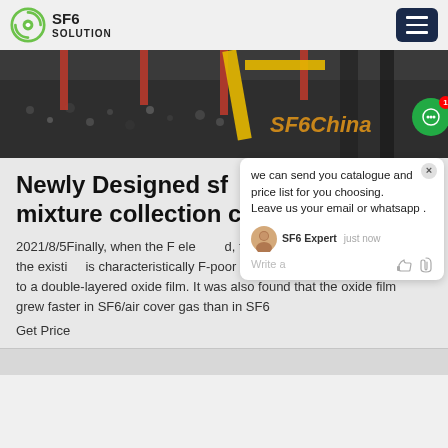SF6 SOLUTION
[Figure (photo): Industrial machinery photo with yellow crane/equipment, dark pellet material, and 'SF6China' watermark overlay]
Newly Designed sf mixture collection c
2021/8/5Finally, when the F element formed, the newly formed layer on the existing is characteristically F-poor but (O, S)-enriched, leading to a double-layered oxide film. It was also found that the oxide film grew faster in SF6/air cover gas than in SF6
Get Price